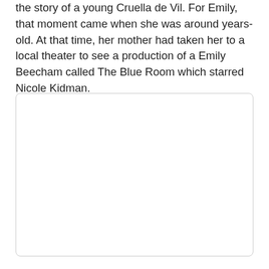the story of a young Cruella de Vil. For Emily, that moment came when she was around years-old. At that time, her mother had taken her to a local theater to see a production of a Emily Beecham called The Blue Room which starred Nicole Kidman.
[Figure (other): A large empty white rectangle with a light gray border and rounded corners, appearing to be a placeholder image area.]